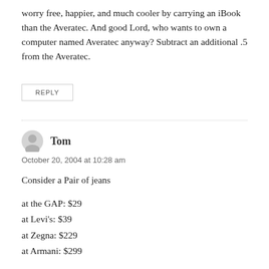worry free, happier, and much cooler by carrying an iBook than the Averatec. And good Lord, who wants to own a computer named Averatec anyway? Subtract an additional .5 from the Averatec.
REPLY
Tom
October 20, 2004 at 10:28 am
Consider a Pair of jeans
at the GAP: $29
at Levi's: $39
at Zegna: $229
at Armani: $299